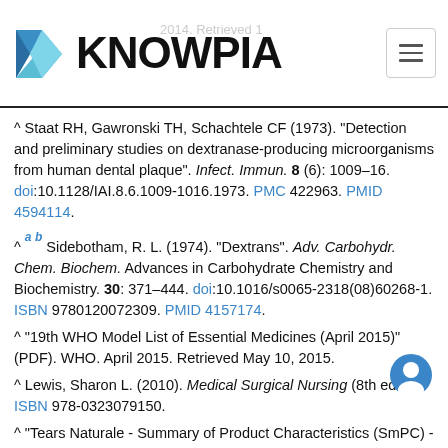KNOWPIA
^ Staat RH, Gawronski TH, Schachtele CF (1973). "Detection and preliminary studies on dextranase-producing microorganisms from human dental plaque". Infect. Immun. 8 (6): 1009–16. doi:10.1128/IAI.8.6.1009-1016.1973. PMC 422963. PMID 4594114.
^ a b Sidebotham, R. L. (1974). "Dextrans". Adv. Carbohydr. Chem. Biochem. Advances in Carbohydrate Chemistry and Biochemistry. 30: 371–444. doi:10.1016/s0065-2318(08)60268-1. ISBN 9780120072309. PMID 4157174.
^ "19th WHO Model List of Essential Medicines (April 2015)" (PDF). WHO. April 2015. Retrieved May 10, 2015.
^ Lewis, Sharon L. (2010). Medical Surgical Nursing (8th ed.). ISBN 978-0323079150.
^ "Tears Naturale - Summary of Product Characteristics (SmPC) - (eMC)". www.medicines.org.uk.